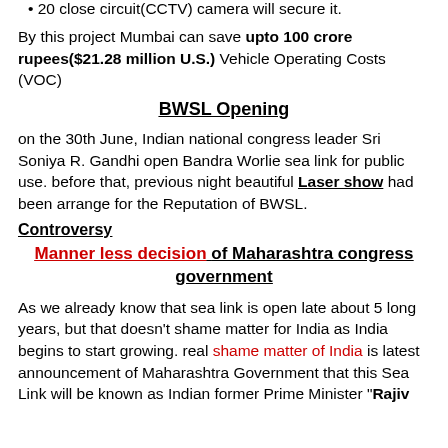20 close circuit(CCTV) camera will secure it.
By this project Mumbai can save upto 100 crore rupees($21.28 million U.S.) Vehicle Operating Costs (VOC)
BWSL Opening
on the 30th June, Indian national congress leader Sri Soniya R. Gandhi open Bandra Worlie sea link for public use. before that, previous night beautiful Laser show had been arrange for the Reputation of BWSL.
Controversy
Manner less decision of Maharashtra congress government
As we already know that sea link is open late about 5 long years, but that doesn't shame matter for India as India begins to start growing. real shame matter of India is latest announcement of Maharashtra Government that this Sea Link will be known as Indian former Prime Minister “Rajiv